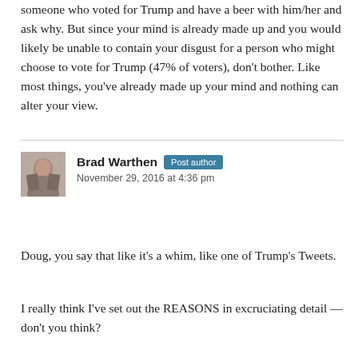someone who voted for Trump and have a beer with him/her and ask why. But since your mind is already made up and you would likely be unable to contain your disgust for a person who might choose to vote for Trump (47% of voters), don't bother. Like most things, you've already made up your mind and nothing can alter your view.
Brad Warthen  Post author
November 29, 2016 at 4:36 pm
Doug, you say that like it's a whim, like one of Trump's Tweets.
I really think I've set out the REASONS in excruciating detail — don't you think?